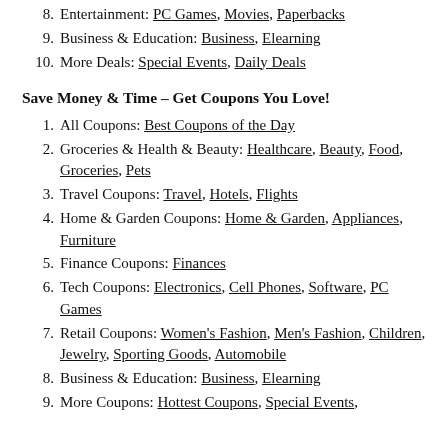8. Entertainment: PC Games, Movies, Paperbacks
9. Business & Education: Business, Elearning
10. More Deals: Special Events, Daily Deals
Save Money & Time – Get Coupons You Love!
1. All Coupons: Best Coupons of the Day
2. Groceries & Health & Beauty: Healthcare, Beauty, Food, Groceries, Pets
3. Travel Coupons: Travel, Hotels, Flights
4. Home & Garden Coupons: Home & Garden, Appliances, Furniture
5. Finance Coupons: Finances
6. Tech Coupons: Electronics, Cell Phones, Software, PC Games
7. Retail Coupons: Women's Fashion, Men's Fashion, Children, Jewelry, Sporting Goods, Automobile
8. Business & Education: Business, Elearning
9. More Coupons: Hottest Coupons, Special Events,